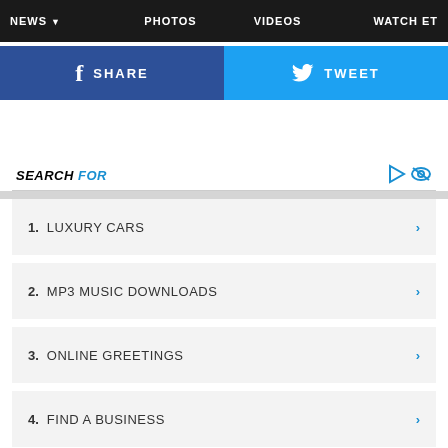NEWS v  PHOTOS  VIDEOS  WATCH ET
[Figure (screenshot): Social sharing bar with Facebook SHARE button (dark blue) and Twitter TWEET button (light blue)]
SEARCH FOR
1. LUXURY CARS
2. MP3 MUSIC DOWNLOADS
3. ONLINE GREETINGS
4. FIND A BUSINESS